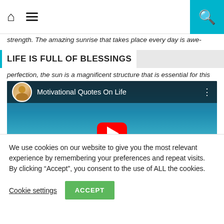Home menu Search
strength. The amazing sunrise that takes place every day is awe-
LIFE IS FULL OF BLESSINGS
perfection, the sun is a magnificent structure that is essential for this
[Figure (screenshot): Embedded YouTube video player showing 'Motivational Quotes On Life' with a water/ocean scene background, red play button in center, channel avatar and title at top]
We use cookies on our website to give you the most relevant experience by remembering your preferences and repeat visits. By clicking “Accept”, you consent to the use of ALL the cookies.
Cookie settings
ACCEPT